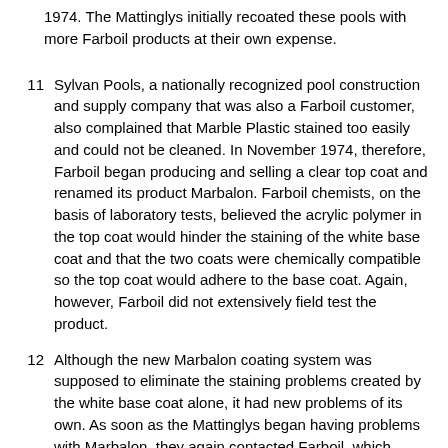1974. The Mattinglys initially recoated these pools with more Farboil products at their own expense.
11 Sylvan Pools, a nationally recognized pool construction and supply company that was also a Farboil customer, also complained that Marble Plastic stained too easily and could not be cleaned. In November 1974, therefore, Farboil began producing and selling a clear top coat and renamed its product Marbalon. Farboil chemists, on the basis of laboratory tests, believed the acrylic polymer in the top coat would hinder the staining of the white base coat and that the two coats were chemically compatible so the top coat would adhere to the base coat. Again, however, Farboil did not extensively field test the product.
12 Although the new Marbalon coating system was supposed to eliminate the staining problems created by the white base coat alone, it had new problems of its own. As soon as the Mattinglys began having problems with Marbalon, they again contacted Farboil, which advised them that the problems were the fault of their own paint crews and assured them it would shortly introduce a new stain-remover to handle the staining problem. These representations led the Mattinglys to continue using Marbalon. However, when Farboil